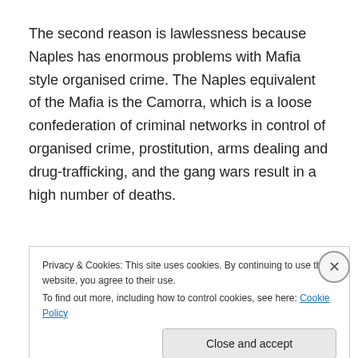The second reason is lawlessness because Naples has enormous problems with Mafia style organised crime. The Naples equivalent of the Mafia is the Camorra, which is a loose confederation of criminal networks in control of organised crime, prostitution, arms dealing and drug-trafficking, and the gang wars result in a high number of deaths.
Privacy & Cookies: This site uses cookies. By continuing to use this website, you agree to their use. To find out more, including how to control cookies, see here: Cookie Policy
Close and accept